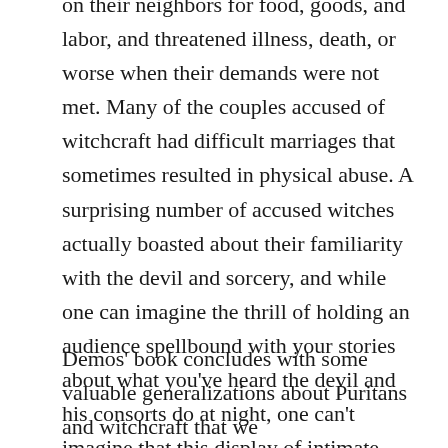on their neighbors for food, goods, and labor, and threatened illness, death, or worse when their demands were not met. Many of the couples accused of witchcraft had difficult marriages that sometimes resulted in physical abuse. A surprising number of accused witches actually boasted about their familiarity with the devil and sorcery, and while one can imagine the thrill of holding an audience spellbound with your stories about what you've heard the devil and his consorts do at night, one can't imagine that this display of intimate knowledge of satanism wouldn't come back to haunt the teller of the tales.
Demos' book concludes with some valuable generalizations about Puritans and witchcraft that we